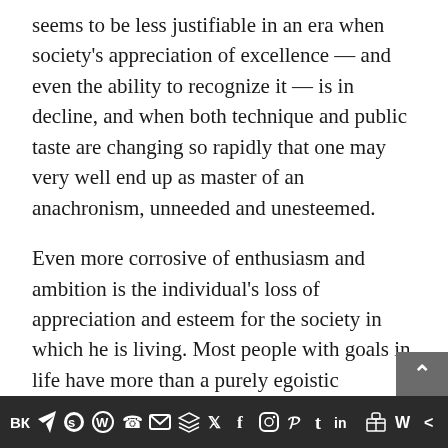seems to be less justifiable in an era when society's appreciation of excellence — and even the ability to recognize it — is in decline, and when both technique and public taste are changing so rapidly that one may very well end up as master of an anachronism, unneeded and unesteemed.
Even more corrosive of enthusiasm and ambition is the individual's loss of appreciation and esteem for the society in which he is living. Most people with goals in life have more than a purely egoistic motivation for achieving them. A writer, an artist, or a craftsman, may want to become a part of a cultural tradition which he reveres; a
VK  Telegram  Reddit  WordPress  WhatsApp  Email  Buffer  Twitter  Facebook  Instagram  Pinterest  Tumblr  LinkedIn  Share  Wattpad  Share